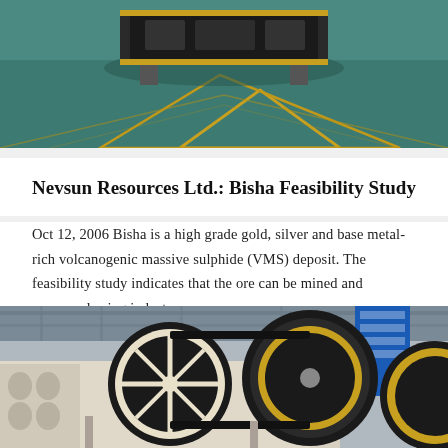[Figure (photo): Industrial machine (crusher/mining equipment) with yellow and black components on a teal/green factory floor.]
Nevsun Resources Ltd.: Bisha Feasibility Study
Oct 12, 2006 Bisha is a high grade gold, silver and base metal-rich volcanogenic massive sulphide (VMS) deposit. The feasibility study indicates that the ore can be mined and processed using industry…
[Figure (photo): Industrial jaw crusher machine with large black and yellow-rimmed flywheels in a factory/warehouse setting with blue signage in the background.]